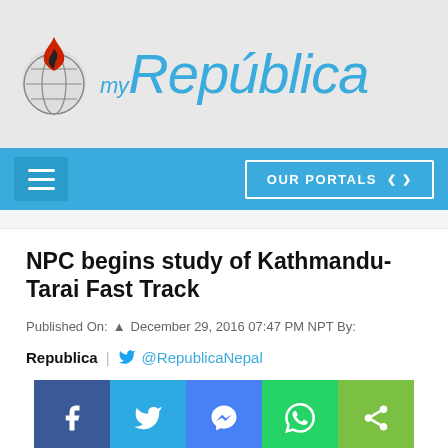[Figure (logo): myRepública logo with flame icon on grey background header]
[Figure (screenshot): Navigation bar with hamburger menu button on left and OUR PORTALS dropdown button on right, blue background]
NPC begins study of Kathmandu-Tarai Fast Track
Published On: December 29, 2016 07:47 PM NPT By:
Republica | @RepublicaNepal
[Figure (infographic): Social share buttons row: Facebook, Twitter, Messenger, WhatsApp, Share icons]
[Figure (photo): Partial photo strip at bottom of page]